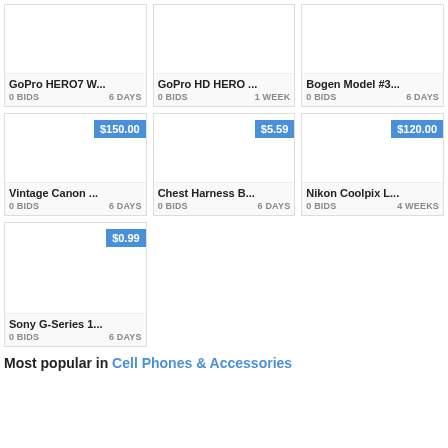[Figure (screenshot): Product card: GoPro HERO7 W... - 0 BIDS, 6 DAYS]
[Figure (screenshot): Product card: GoPro HD HERO ... - 0 BIDS, 1 WEEK]
[Figure (screenshot): Product card: Bogen Model #3... - 0 BIDS, 6 DAYS]
[Figure (screenshot): Product card: Vintage Canon ... - $150.00, 0 BIDS, 6 DAYS]
[Figure (screenshot): Product card: Chest Harness B... - $5.59, 0 BIDS, 6 DAYS]
[Figure (screenshot): Product card: Nikon Coolpix L... - $120.00, 0 BIDS, 4 WEEKS]
[Figure (screenshot): Product card: Sony G-Series 1... - $0.99, 0 BIDS, 6 DAYS]
Most popular in Cell Phones & Accessories